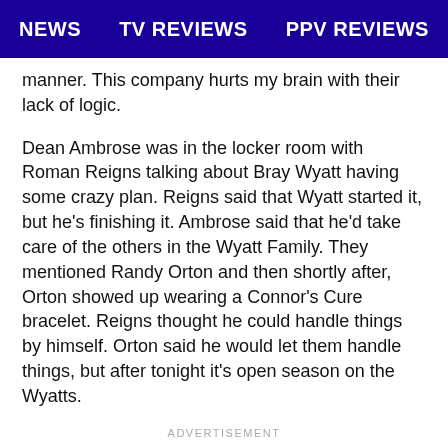NEWS  TV REVIEWS  PPV REVIEWS
manner. This company hurts my brain with their lack of logic.
Dean Ambrose was in the locker room with Roman Reigns talking about Bray Wyatt having some crazy plan. Reigns said that Wyatt started it, but he’s finishing it. Ambrose said that he’d take care of the others in the Wyatt Family. They mentioned Randy Orton and then shortly after, Orton showed up wearing a Connor’s Cure bracelet. Reigns thought he could handle things by himself. Orton said he would let them handle things, but after tonight it’s open season on the Wyatts.
ADVERTISEMENT